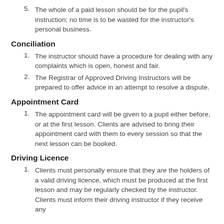5. The whole of a paid lesson should be for the pupil's instruction; no time is to be wasted for the instructor's personal business.
Conciliation
1. The instructor should have a procedure for dealing with any complaints which is open, honest and fair.
2. The Registrar of Approved Driving Instructors will be prepared to offer advice in an attempt to resolve a dispute.
Appointment Card
1. The appointment card will be given to a pupil either before, or at the first lesson. Clients are advised to bring their appointment card with them to every session so that the next lesson can be booked.
Driving Licence
1. Clients must personally ensure that they are the holders of a valid driving licence, which must be produced at the first lesson and may be regularly checked by the instructor. Clients must inform their driving instructor if they receive any